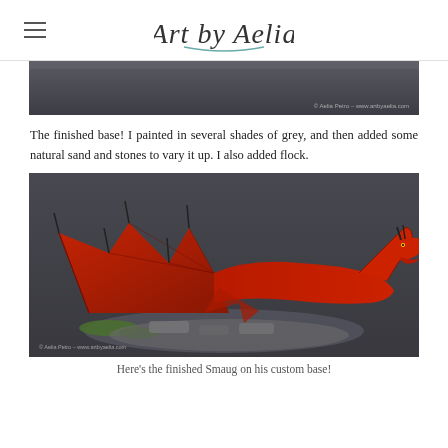Art by Aelia
[Figure (photo): Close-up photo of a painted miniature base showing grey tones with a watermark '© Aelia Petro – www.artbyaelia.com']
The finished base! I painted in several shades of grey, and then added some natural sand and stones to vary it up. I also added flock.
[Figure (photo): Photo of a painted red dragon miniature (Smaug) on a custom base with green flock and grey stones, with watermark '© Aelia Petro – www.artbyaelia.com']
Here's the finished Smaug on his custom base!